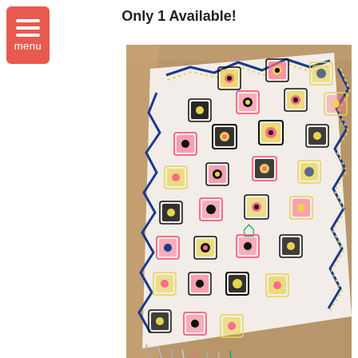Only 1 Available!
[Figure (photo): Colorful Moroccan-style woven rug with geometric diamond patterns in blue, pink, yellow, black, and green on a white background, photographed from above on a wooden herringbone floor.]